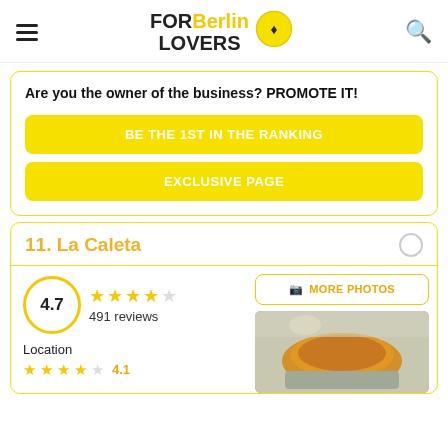FOR Berlin LOVERS
Are you the owner of the business? PROMOTE IT!
BE THE 1ST IN THE RANKING
EXCLUSIVE PAGE
11. La Caleta
4.7 — 491 reviews — 4 and a half stars
MORE PHOTOS
Location
4.1